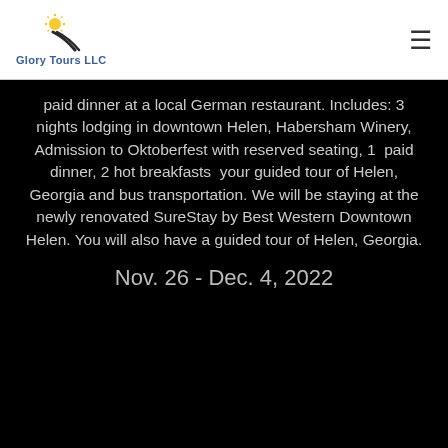[Figure (logo): Glory Tours LLC logo with sun and road imagery]
paid dinner at a local German restaurant. Includes: 3 nights lodging in downtown Helen, Habersham Winery, Admission to Oktoberfest with reserved seating, 1 paid dinner, 2 hot breakfasts your guided tour of Helen, Georgia and bus transportation. We will be staying at the newly renovated SureStay by Best Western Downtown Helen. You will also have a guided tour of Helen, Georgia.
Nov. 26 - Dec. 4, 2022